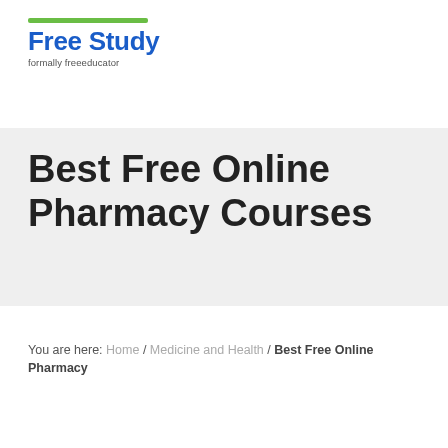[Figure (logo): Free Study logo with green horizontal line above bold blue text 'Free Study' and gray subtext 'formally freeeducator']
Best Free Online Pharmacy Courses
You are here: Home / Medicine and Health / Best Free Online Pharmacy